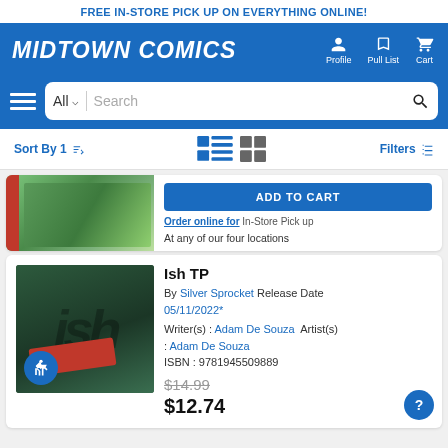FREE IN-STORE PICK UP ON EVERYTHING ONLINE!
[Figure (logo): Midtown Comics logo with navigation icons for Profile, Pull List, Cart]
[Figure (screenshot): Search bar with All dropdown and Search input]
Sort By 1  [list/grid view icons]  Filters
[Figure (photo): Partial product card with green foliage cover and ADD TO CART button. Order online for In-Store Pick up. At any of our four locations.]
ADD TO CART
Order online for In-Store Pick up
At any of our four locations
Ish TP
By Silver Sprocket Release Date 05/11/2022*
Writer(s) : Adam De Souza  Artist(s) : Adam De Souza
ISBN : 9781945509889
$14.99
$12.74